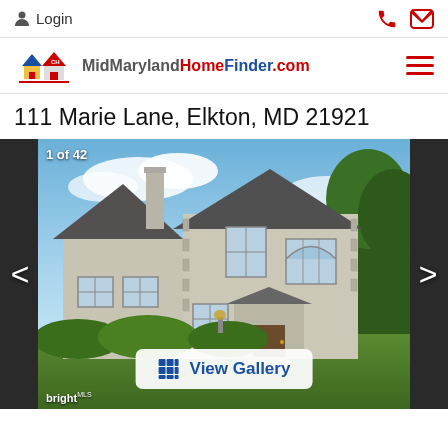Login
[Figure (logo): MidMarylandHomeFinder.com logo with house icons]
111 Marie Lane, Elkton, MD 21921
[Figure (photo): Exterior photo of a two-story beige/stone colonial house with dark gray roof, chimney, green landscaping and blue sky. Counter shows 1 of 42. View Gallery button visible at bottom center. Bright MLS watermark at bottom left.]